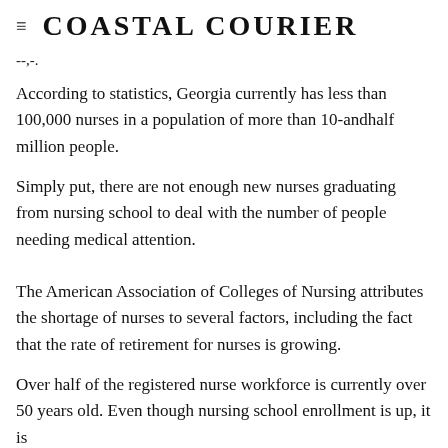Coastal Courier
--,-.
According to statistics, Georgia currently has less than 100,000 nurses in a population of more than 10-andhalf million people.
Simply put, there are not enough new nurses graduating from nursing school to deal with the number of people needing medical attention.
The American Association of Colleges of Nursing attributes the shortage of nurses to several factors, including the fact that the rate of retirement for nurses is growing.
Over half of the registered nurse workforce is currently over 50 years old. Even though nursing school enrollment is up, it is